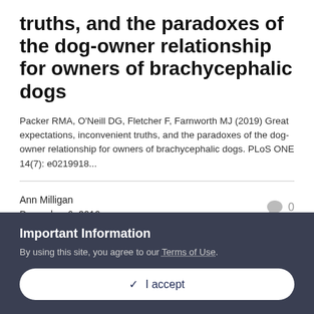truths, and the paradoxes of the dog-owner relationship for owners of brachycephalic dogs
Packer RMA, O'Neill DG, Fletcher F, Farnworth MJ (2019) Great expectations, inconvenient truths, and the paradoxes of the dog-owner relationship for owners of brachycephalic dogs. PLoS ONE 14(7): e0219918...
Ann Milligan
December 6, 2019
0
Important Information
By using this site, you agree to our Terms of Use.
✓  I accept